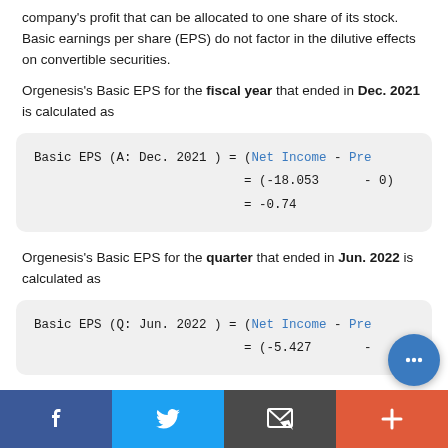company's profit that can be allocated to one share of its stock. Basic earnings per share (EPS) do not factor in the dilutive effects on convertible securities.
Orgenesis's Basic EPS for the fiscal year that ended in Dec. 2021 is calculated as
Orgenesis's Basic EPS for the quarter that ended in Jun. 2022 is calculated as